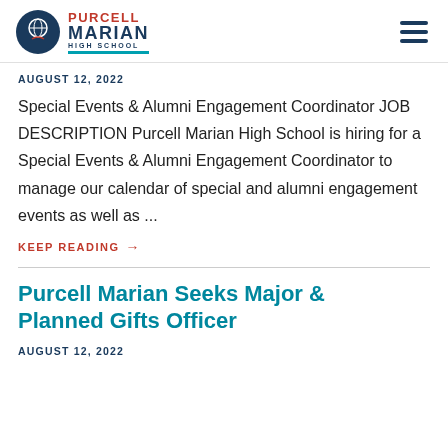Purcell Marian High School
AUGUST 12, 2022
Special Events & Alumni Engagement Coordinator JOB DESCRIPTION Purcell Marian High School is hiring for a Special Events & Alumni Engagement Coordinator to manage our calendar of special and alumni engagement events as well as ...
KEEP READING →
Purcell Marian Seeks Major & Planned Gifts Officer
AUGUST 12, 2022